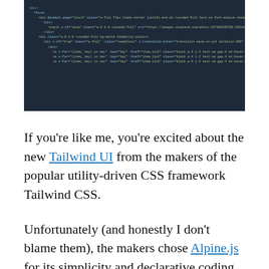[Figure (screenshot): Dark-themed code editor screenshot showing HTML/template code with syntax highlighting on a dark navy background]
If you're like me, you're excited about the new Tailwind UI from the makers of the popular utility-driven CSS framework Tailwind CSS.
Unfortunately (and honestly I don't blame them), the makers chose Alpine.js for its simplicity and declarative coding style. This presents a small issue for those of us who are used to using Vue.
Alpine.js to Vue translation